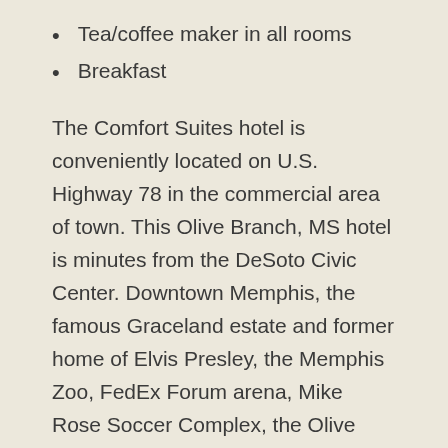Tea/coffee maker in all rooms
Breakfast
The Comfort Suites hotel is conveniently located on U.S. Highway 78 in the commercial area of town. This Olive Branch, MS hotel is minutes from the DeSoto Civic Center. Downtown Memphis, the famous Graceland estate and former home of Elvis Presley, the Memphis Zoo, FedEx Forum arena, Mike Rose Soccer Complex, the Olive Branch Airport, and popular Beale Street are less than 32.2 km away.
All guest rooms come equipped with microwaves, refrigerators, flat-screen